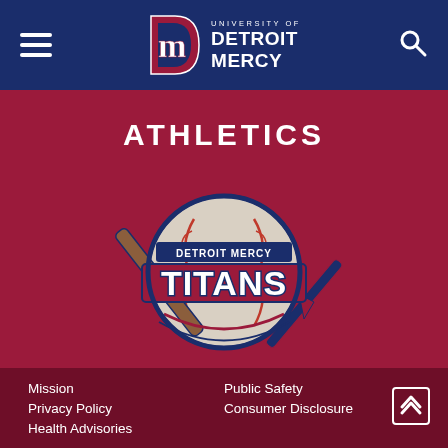University of Detroit Mercy — Athletics
ATHLETICS
[Figure (logo): Detroit Mercy Titans athletic logo — circular design with a baseball, crossed bat and javelin/trident, text 'DETROIT MERCY' above 'TITANS' in red, white and navy blue]
Mission
Public Safety
Privacy Policy
Consumer Disclosure
Health Advisories